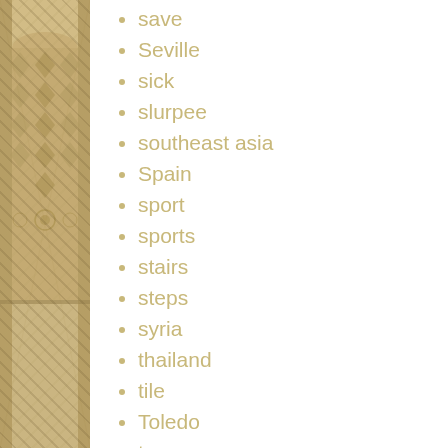[Figure (photo): Decorative architectural element with intricate Islamic geometric tile/stonework pattern on a pillar or wall, in warm beige/tan tones]
save
Seville
sick
slurpee
southeast asia
Spain
sport
sports
stairs
steps
syria
thailand
tile
Toledo
tours